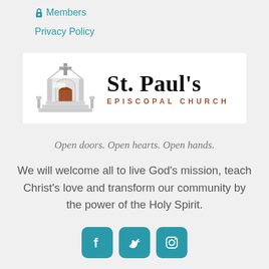🔒 Members
Privacy Policy
[Figure (logo): St. Paul's Episcopal Church logo with church building illustration on the left and text 'ST. PAUL'S EPISCOPAL CHURCH' on the right]
Open doors. Open hearts. Open hands.
We will welcome all to live God's mission, teach Christ's love and transform our community by the power of the Holy Spirit.
[Figure (other): Social media icons: Facebook, Twitter, Instagram — teal rounded square buttons]